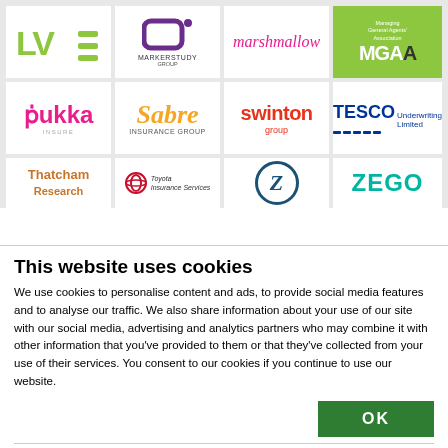[Figure (logo): LVE logo - green stylized letters]
[Figure (logo): Markerstudy Group logo - purple square icon with text]
[Figure (logo): marshmallow logo - pink italic text]
[Figure (logo): MGAA - Managing General Agents Association logo on green background]
[Figure (logo): pukka insure logo - pink text]
[Figure (logo): Sabre Insurance Group logo - orange italic text]
[Figure (logo): swinton group logo - red text]
[Figure (logo): TESCO Underwriting Limited logo - blue text]
[Figure (logo): Thatcham Research logo - orange text, partial]
[Figure (logo): Toyota Insurance Services logo, partial]
[Figure (logo): Zurich Z circle logo, partial]
[Figure (logo): ZEGO logo - teal text, partial]
This website uses cookies
We use cookies to personalise content and ads, to provide social media features and to analyse our traffic. We also share information about your use of our site with our social media, advertising and analytics partners who may combine it with other information that you've provided to them or that they've collected from your use of their services. You consent to our cookies if you continue to use our website.
OK
Necessary  Preferences  Statistics  Marketing  Show details